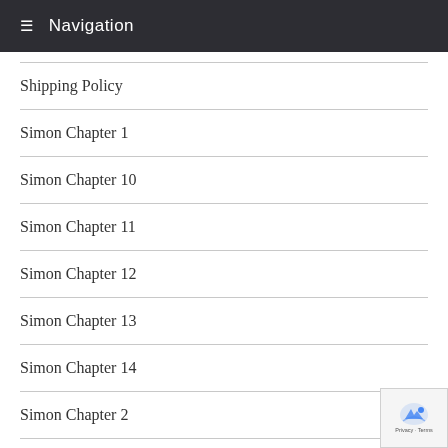Navigation
Shipping Policy
Simon Chapter 1
Simon Chapter 10
Simon Chapter 11
Simon Chapter 12
Simon Chapter 13
Simon Chapter 14
Simon Chapter 2